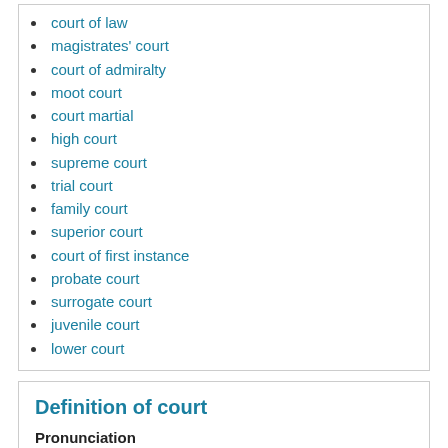court of law
magistrates' court
court of admiralty
moot court
court martial
high court
supreme court
trial court
family court
superior court
court of first instance
probate court
surrogate court
juvenile court
lower court
Definition of court
Pronunciation